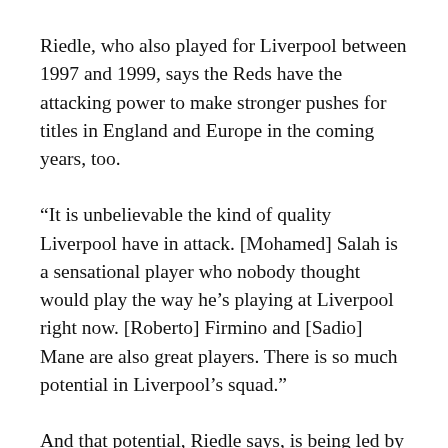Riedle, who also played for Liverpool between 1997 and 1999, says the Reds have the attacking power to make stronger pushes for titles in England and Europe in the coming years, too.
“It is unbelievable the kind of quality Liverpool have in attack. [Mohamed] Salah is a sensational player who nobody thought would play the way he’s playing at Liverpool right now. [Roberto] Firmino and [Sadio] Mane are also great players. There is so much potential in Liverpool’s squad.”
And that potential, Riedle says, is being led by the perfect manager.
“I think Jurgen Klopp is doing a great job at Liverpool and the fans seem to love him. He fits perfectly at the club. The team is playing great